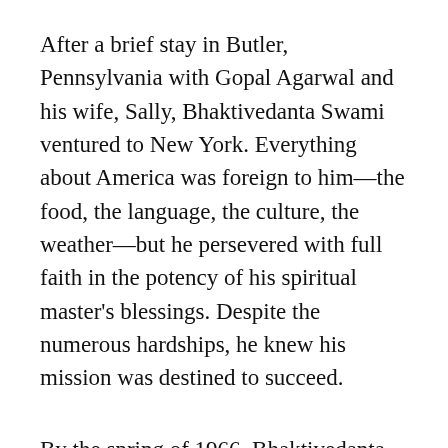After a brief stay in Butler, Pennsylvania with Gopal Agarwal and his wife, Sally, Bhaktivedanta Swami ventured to New York. Everything about America was foreign to him—the food, the language, the culture, the weather—but he persevered with full faith in the potency of his spiritual master's blessings. Despite the numerous hardships, he knew his mission was destined to succeed.
By the spring of 1966, Bhaktivedanta Swami had relocated to the Bowery, one of New York City's most run-down and impoverished neighborhoods. He was regularly holding kirtans and lecturing on the Bhagavad-gita to a small group of hippies who had moved to Manhattan's